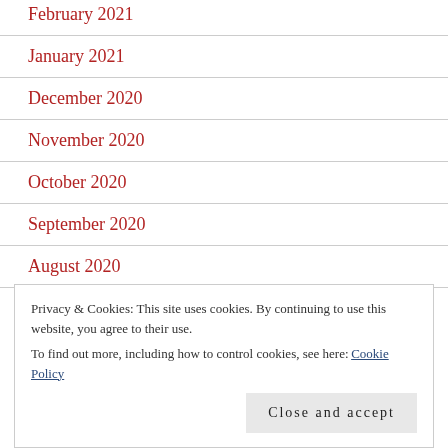February 2021
January 2021
December 2020
November 2020
October 2020
September 2020
August 2020
July…
Privacy & Cookies: This site uses cookies. By continuing to use this website, you agree to their use. To find out more, including how to control cookies, see here: Cookie Policy
Close and accept